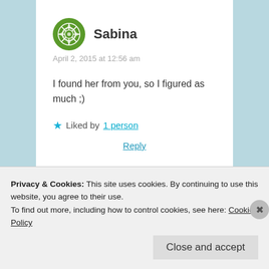Sabina
April 2, 2015 at 12:56 am
I found her from you, so I figured as much ;)
★ Liked by 1 person
Reply
[Figure (infographic): Green advertisement banner reading 'You run your business.' with a white button 'Secure Your Site']
Privacy & Cookies: This site uses cookies. By continuing to use this website, you agree to their use.
To find out more, including how to control cookies, see here: Cookie Policy
Close and accept